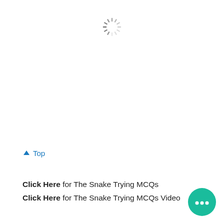[Figure (other): Loading spinner icon (circular dashed ring) centered near top of page]
↑ Top
Click Here for The Snake Trying MCQs
Click Here for The Snake Trying MCQs Video